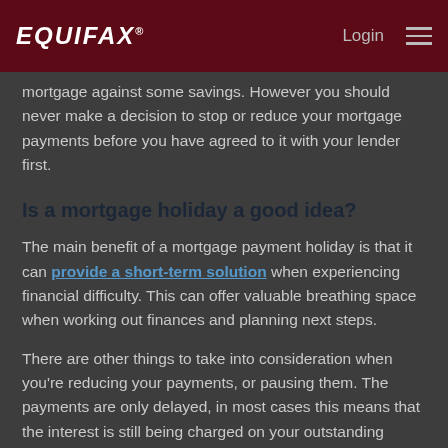EQUIFAX — Login
mortgage against some savings. However you should never make a decision to stop or reduce your mortgage payments before you have agreed to it with your lender first.
Is a mortgage holiday a good idea?
The main benefit of a mortgage payment holiday is that it can provide a short-term solution when experiencing financial difficulty. This can offer valuable breathing space when working out finances and planning next steps.
There are other things to take into consideration when you're reducing your payments, or pausing them. The payments are only delayed, in most cases this means that the interest is still being charged on your outstanding